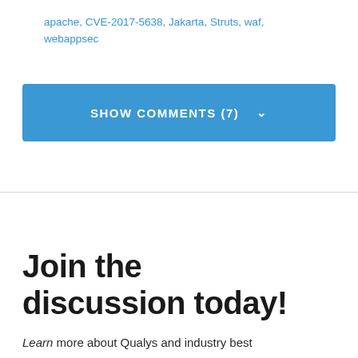apache, CVE-2017-5638, Jakarta, Struts, waf, webappsec
SHOW COMMENTS (7) ∨
Join the discussion today!
Learn more about Qualys and industry best